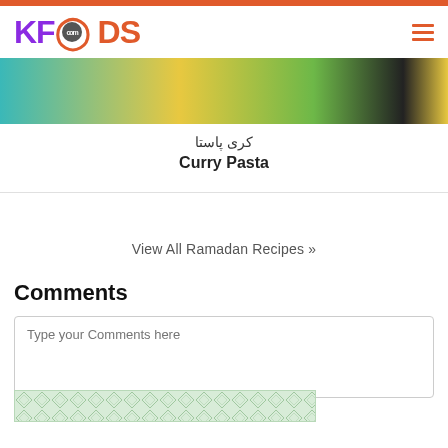KFOODS.com
[Figure (photo): Curry pasta food photo cropped at top]
کری پاستا
Curry Pasta
View All Ramadan Recipes »
Comments
Type your Comments here
[Figure (other): Small decorative ad banner with green pattern]